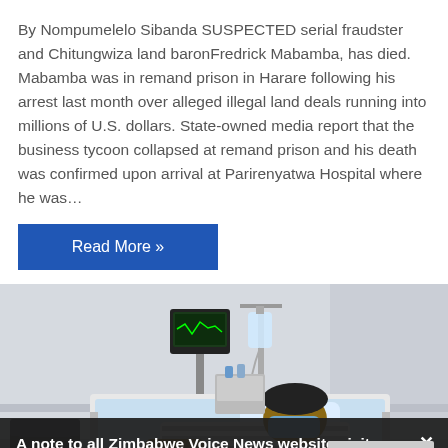By Nompumelelo Sibanda SUSPECTED serial fraudster and Chitungwiza land baronFredrick Mabamba, has died. Mabamba was in remand prison in Harare following his arrest last month over alleged illegal land deals running into millions of U.S. dollars. State-owned media report that the business tycoon collapsed at remand prison and his death was confirmed upon arrival at Parirenyatwa Hospital where he was…
Read More »
[Figure (photo): A person lying in a hospital bed wearing a blue face mask and striped clothing, with medical equipment visible in the background of what appears to be a hospital room.]
A note to all Zimbabwe Voice News website visitors: We use cookies to improve our service for you. You can find more information in our Privacy Policy page.